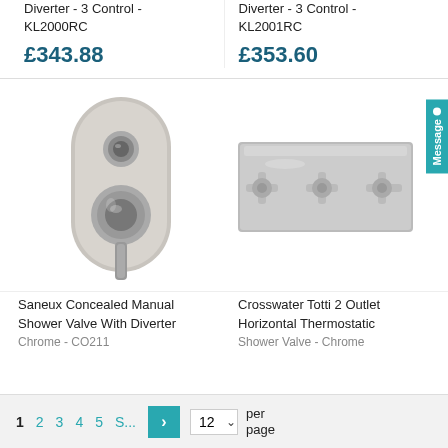Diverter - 3 Control - KL2000RC
£343.88
Diverter - 3 Control - KL2001RC
£353.60
[Figure (photo): Saneux concealed manual shower valve with diverter, chrome finish, oval escutcheon with single lever and round button]
[Figure (photo): Crosswater Totti 2 outlet horizontal thermostatic shower valve with three cross-head handles on rectangular chrome plate]
Saneux Concealed Manual Shower Valve With Diverter Chrome - CO211
Crosswater Totti 2 Outlet Horizontal Thermostatic Shower Valve - Chrome
1
2
3
4
5
S...
12 per page